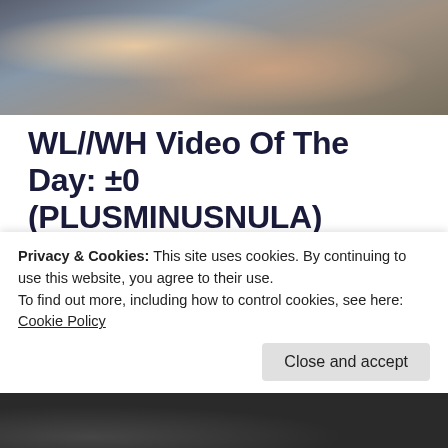[Figure (photo): Photo of people, partially cropped at top of page]
WL//WH Video Of The Day: ±0 (PLUSMINUSNULA) “Světy / Worlds”
Catherine Gillette   15th May 2021   Indie, New Music, Post Punk, WL//WH Video Of The Day
Share 0   Like 0   Tweet   Save
Privacy & Cookies: This site uses cookies. By continuing to use this website, you agree to their use.
To find out more, including how to control cookies, see here:
Cookie Policy
Close and accept
[Figure (photo): Photo partially visible at bottom of page]